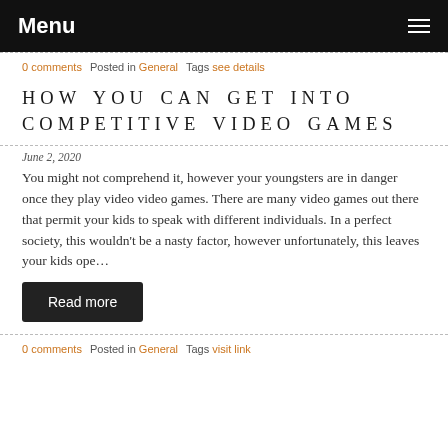Menu
0 comments   Posted in General   Tags see details
HOW YOU CAN GET INTO COMPETITIVE VIDEO GAMES
June 2, 2020
You might not comprehend it, however your youngsters are in danger once they play video video games. There are many video games out there that permit your kids to speak with different individuals. In a perfect society, this wouldn't be a nasty factor, however unfortunately, this leaves your kids ope…
Read more
0 comments   Posted in General   Tags visit link